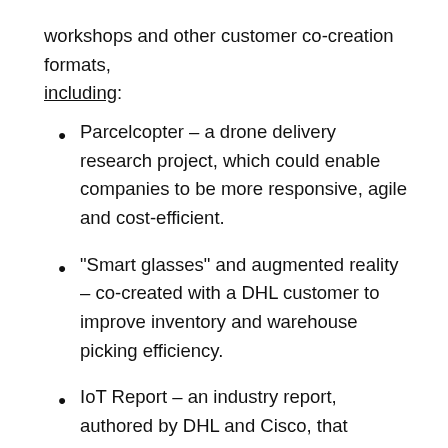workshops and other customer co-creation formats, including:
Parcelcopter – a drone delivery research project, which could enable companies to be more responsive, agile and cost-efficient.
“Smart glasses” and augmented reality – co-created with a DHL customer to improve inventory and warehouse picking efficiency.
IoT Report – an industry report, authored by DHL and Cisco, that identifies and evaluates the implications and use cases of the Internet of Things in logistics.